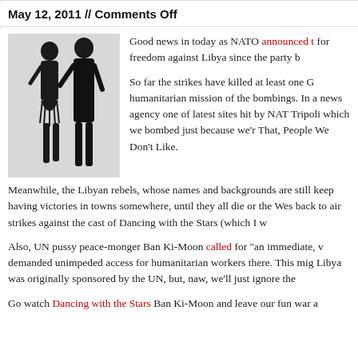May 12, 2011 // Comments Off
[Figure (photo): Two dancers in black outfits, one male and one female, posed in a dance hold against a white background.]
Good news in today as NATO announced t... for freedom against Libya since the party b...
So far the strikes have killed at least one G... humanitarian mission of the bombings. In a... news agency one of latest sites hit by NAT... Tripoli which we bombed just because we'r... That, People We Don't Like.
Meanwhile, the Libyan rebels, whose names and backgrounds are still... keep having victories in towns somewhere, until they all die or the Wes... back to air strikes against the cast of Dancing with the Stars (which I w...
Also, UN pussy peace-monger Ban Ki-Moon called for "an immediate, v... demanded unimpeded access for humanitarian workers there. This mig... Libya was originally sponsored by the UN, but, naw, we'll just ignore the...
Go watch Dancing with the Stars Ban Ki-Moon and leave our fun war a...